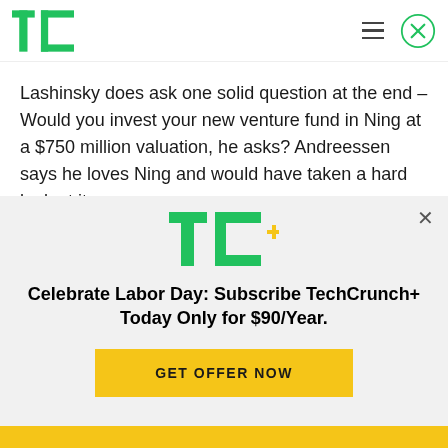TechCrunch logo with hamburger menu and close button
Lashinsky does ask one solid question at the end – Would you invest your new venture fund in Ning at a $750 million valuation, he asks? Andreessen says he loves Ning and would have taken a hard look at it.
I'm not sure if that actually qualifies as an answer.
[Figure (logo): TechCrunch+ logo in green and yellow]
Celebrate Labor Day: Subscribe TechCrunch+ Today Only for $90/Year.
GET OFFER NOW